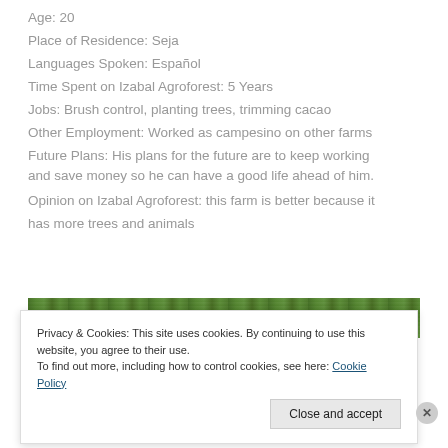Age: 20
Place of Residence: Seja
Languages Spoken: Español
Time Spent on Izabal Agroforest: 5 Years
Jobs: Brush control, planting trees, trimming cacao
Other Employment: Worked as campesino on other farms
Future Plans: His plans for the future are to keep working and save money so he can have a good life ahead of him.
Opinion on Izabal Agroforest: this farm is better because it has more trees and animals
[Figure (photo): Green forest/agroforest canopy photo strip]
Privacy & Cookies: This site uses cookies. By continuing to use this website, you agree to their use.
To find out more, including how to control cookies, see here: Cookie Policy
Advertisements